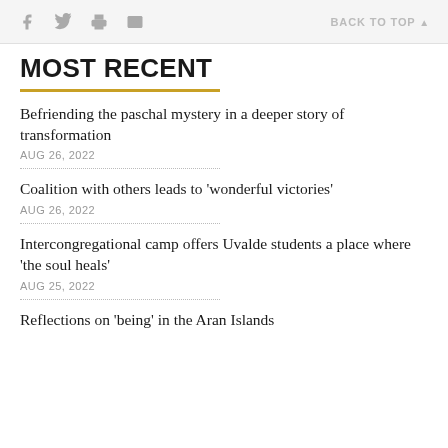f  [twitter]  [print]  [email]  BACK TO TOP
MOST RECENT
Befriending the paschal mystery in a deeper story of transformation
AUG 26, 2022
Coalition with others leads to 'wonderful victories'
AUG 26, 2022
Intercongregational camp offers Uvalde students a place where 'the soul heals'
AUG 25, 2022
Reflections on 'being' in the Aran Islands